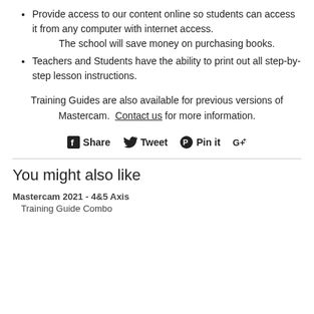Provide access to our content online so students can access it from any computer with internet access.
The school will save money on purchasing books.
Teachers and Students have the ability to print out all step-by-step lesson instructions.
Training Guides are also available for previous versions of Mastercam. Contact us for more information.
[Figure (infographic): Social sharing buttons: Facebook Share, Twitter Tweet, Pinterest Pin it, Google+ +1]
You might also like
Mastercam 2021 - 4&5 Axis
Training Guide Combo